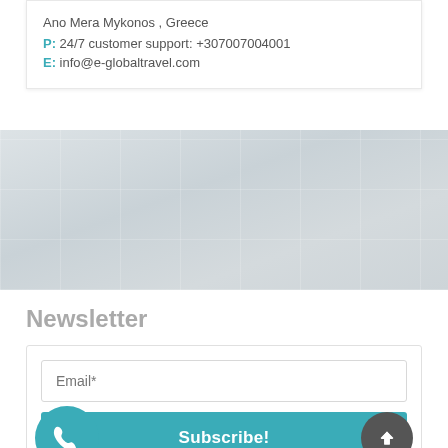Ano Mera Mykonos , Greece
P: 24/7 customer support: +307007004001
E: info@e-globaltravel.com
[Figure (map): Gray map background area]
Newsletter
Email*
Subscribe!